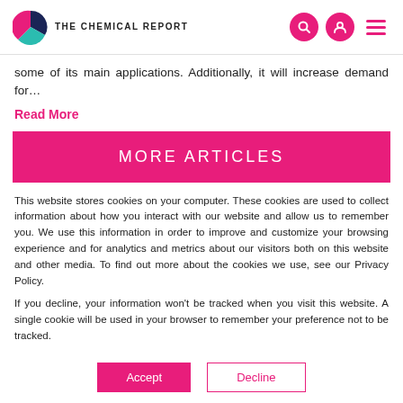THE CHEMICAL REPORT
some of its main applications. Additionally, it will increase demand for…
Read More
MORE ARTICLES
This website stores cookies on your computer. These cookies are used to collect information about how you interact with our website and allow us to remember you. We use this information in order to improve and customize your browsing experience and for analytics and metrics about our visitors both on this website and other media. To find out more about the cookies we use, see our Privacy Policy.
If you decline, your information won't be tracked when you visit this website. A single cookie will be used in your browser to remember your preference not to be tracked.
Accept   Decline